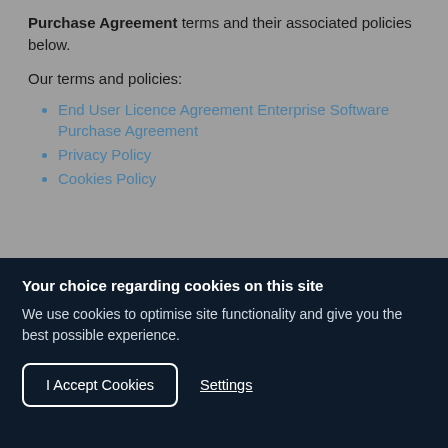Purchase Agreement terms and their associated policies below.
Our terms and policies:
End User Licence Agreement Enterprise Software Purchase Agreement
Privacy Policy
Cookies Policy
Your choice regarding cookies on this site
We use cookies to optimise site functionality and give you the best possible experience.
I Accept Cookies
Settings